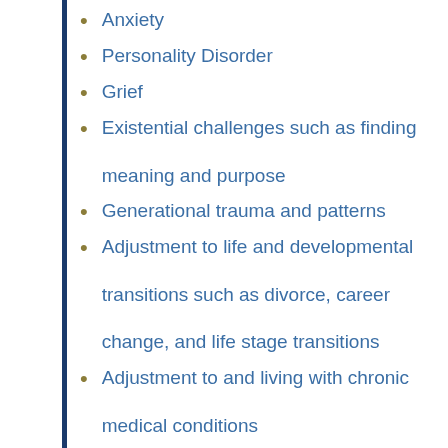Anxiety
Personality Disorder
Grief
Existential challenges such as finding meaning and purpose
Generational trauma and patterns
Adjustment to life and developmental transitions such as divorce, career change, and life stage transitions
Adjustment to and living with chronic medical conditions
Living with life threatening illness
Adherence to and coping with psychiatric and medical treatment